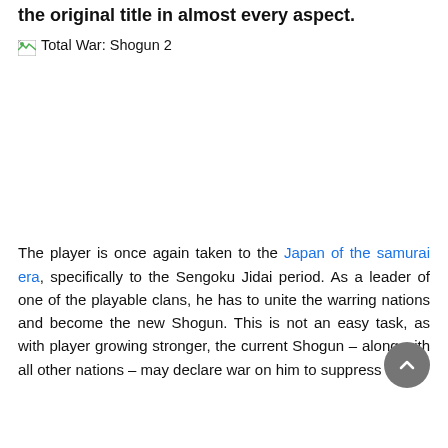the original title in almost every aspect.
[Figure (photo): Broken image placeholder for Total War: Shogun 2]
The player is once again taken to the Japan of the samurai era, specifically to the Sengoku Jidai period. As a leader of one of the playable clans, he has to unite the warring nations and become the new Shogun. This is not an easy task, as with player growing stronger, the current Shogun – along with all other nations – may declare war on him to suppress his